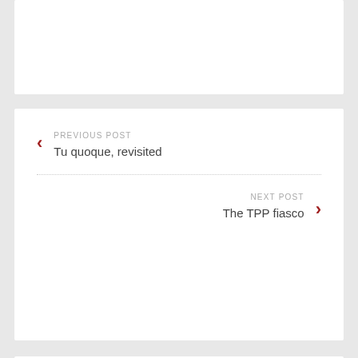PREVIOUS POST
Tu quoque, revisited
NEXT POST
The TPP fiasco
16 thoughts on “Monday Message Board”
Joe says: